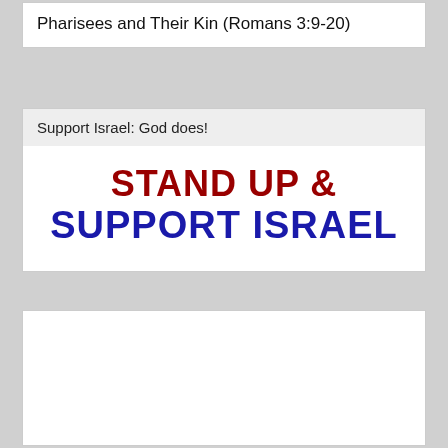Pharisees and Their Kin (Romans 3:9-20)
Support Israel: God does!
[Figure (illustration): Bold text graphic reading 'STAND UP & SUPPORT ISRAEL' in red and blue bold letters on white background.]
[Figure (other): Empty white card/box area at the bottom of the page.]